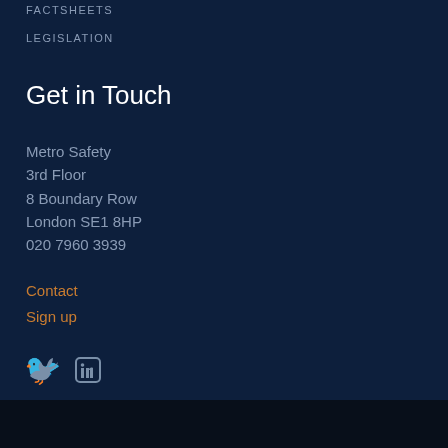FACTSHEETS
LEGISLATION
Get in Touch
Metro Safety
3rd Floor
8 Boundary Row
London SE1 8HP
020 7960 3939
Contact
Sign up
[Figure (illustration): Twitter and LinkedIn social media icons in grey]